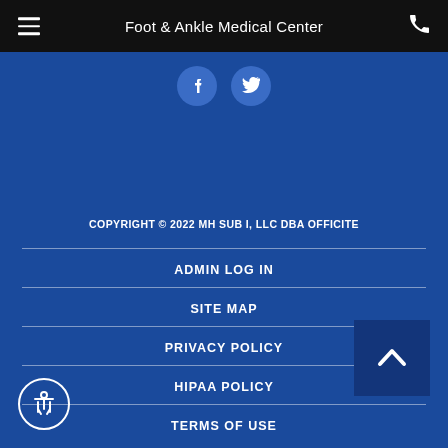Foot & Ankle Medical Center
[Figure (other): Two circular social media icon buttons (Facebook and another) on blue background]
COPYRIGHT © 2022 MH SUB I, LLC DBA OFFICITE
ADMIN LOG IN
SITE MAP
PRIVACY POLICY
HIPAA POLICY
TERMS OF USE
[Figure (other): Back to top button with upward chevron arrow]
[Figure (other): Accessibility icon button showing human figure in circle]